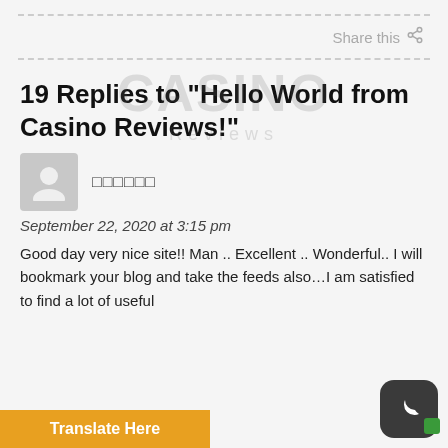Share this
19 Replies to “Hello World from Casino Reviews!”
[Figure (illustration): Watermark logo with text 'CASINO Reviews' in large semi-transparent letters]
[Figure (illustration): Default user avatar placeholder - grey square with person silhouette icon]
□□□□□□ (comment author name in non-Latin script)
September 22, 2020 at 3:15 pm
Good day very nice site!! Man .. Excellent .. Wonderful.. I will bookmark your blog and take the feeds also…I am satisfied to find a lot of useful
Translate Here
[Figure (illustration): Dark mode / night mode toggle button with moon icon and green indicator dot]